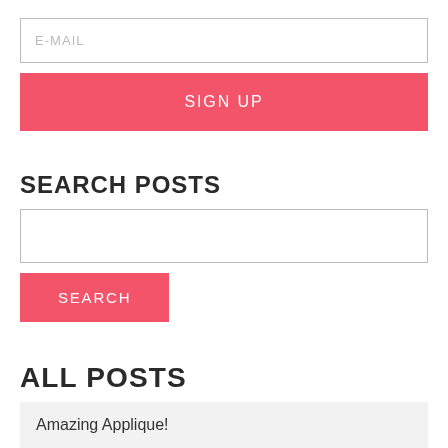E-MAIL
SIGN UP
SEARCH POSTS
SEARCH
ALL POSTS
Amazing Applique!